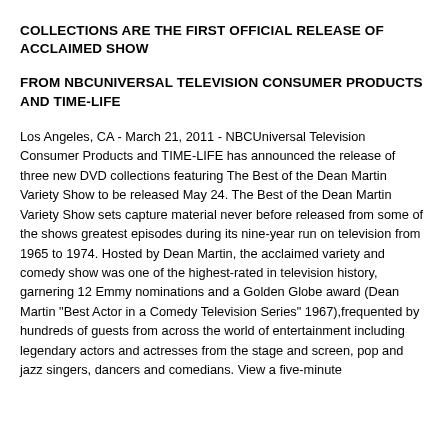COLLECTIONS ARE THE FIRST OFFICIAL RELEASE OF ACCLAIMED SHOW
FROM NBCUNIVERSAL TELEVISION CONSUMER PRODUCTS AND TIME-LIFE
Los Angeles, CA - March 21, 2011 - NBCUniversal Television Consumer Products and TIME-LIFE has announced the release of three new DVD collections featuring The Best of the Dean Martin Variety Show to be released May 24. The Best of the Dean Martin Variety Show sets capture material never before released from some of the shows greatest episodes during its nine-year run on television from 1965 to 1974. Hosted by Dean Martin, the acclaimed variety and comedy show was one of the highest-rated in television history, garnering 12 Emmy nominations and a Golden Globe award (Dean Martin "Best Actor in a Comedy Television Series" 1967),frequented by hundreds of guests from across the world of entertainment including legendary actors and actresses from the stage and screen, pop and jazz singers, dancers and comedians. View a five-minute